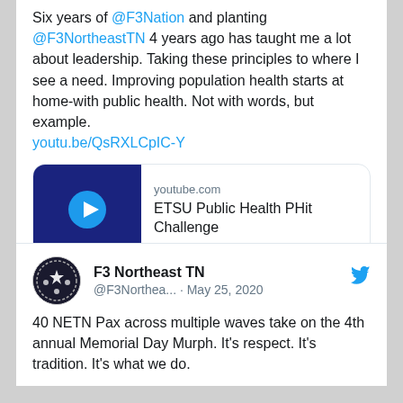Six years of @F3Nation and planting @F3NortheastTN 4 years ago has taught me a lot about leadership. Taking these principles to where I see a need. Improving population health starts at home-with public health. Not with words, but example. youtu.be/QsRXLCpIC-Y
[Figure (screenshot): YouTube embed card showing youtube.com and title 'ETSU Public Health PHit Challenge' with play button thumbnail]
2 comments, 13 likes
F3 Northeast TN @F3Northea... · May 25, 2020
40 NETN Pax across multiple waves take on the 4th annual Memorial Day Murph. It's respect. It's tradition. It's what we do.